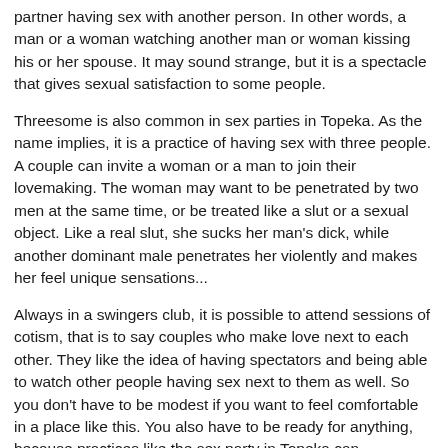partner having sex with another person. In other words, a man or a woman watching another man or woman kissing his or her spouse. It may sound strange, but it is a spectacle that gives sexual satisfaction to some people.
Threesome is also common in sex parties in Topeka. As the name implies, it is a practice of having sex with three people. A couple can invite a woman or a man to join their lovemaking. The woman may want to be penetrated by two men at the same time, or be treated like a slut or a sexual object. Like a real slut, she sucks her man's dick, while another dominant male penetrates her violently and makes her feel unique sensations...
Always in a swingers club, it is possible to attend sessions of cotism, that is to say couples who make love next to each other. They like the idea of having spectators and being able to watch other people having sex next to them as well. So you don't have to be modest if you want to feel comfortable in a place like this. You also have to be ready for anything, because practices like the sex party in Topeka can destabilize many people.